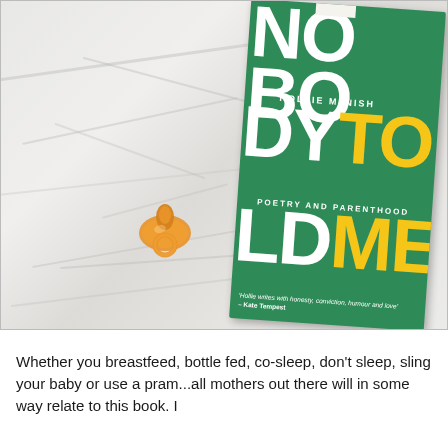[Figure (photo): Photo of a book titled 'Nobody Told Me: Poetry and Parenthood' by Hollie McNish, placed on a white rumpled bed sheet next to an orange pacifier/dummy. The book has a green cover with large white and yellow block letters.]
Whether you breastfeed, bottle fed, co-sleep, don't sleep, sling your baby or use a pram...all mothers out there will in some way relate to this book. I